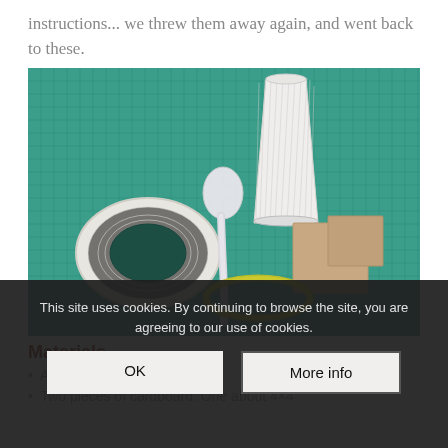instructions... we threw them away again, and went back to these.
[Figure (photo): Photo of craft materials on a green cutting mat: a white paper cup, a white plastic spoon, a roll of white tape, two pieces of cardboard, and a yellow rubber band.]
Materials
A paper cup
Two pieces of cardboard. One about 4×4
This site uses cookies. By continuing to browse the site, you are agreeing to our use of cookies.